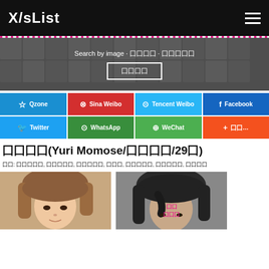X/sList
[Figure (screenshot): Search by image banner with face grid background, search button with Chinese text]
[Figure (infographic): Social sharing buttons: Qzone, Sina Weibo, Tencent Weibo, Facebook, Twitter, WhatsApp, WeChat, more]
囗囗囗囗(Yuri Momose/囗囗囗囗/29囗)
囗囗: 囗囗囗囗囗, 囗囗囗囗囗, 囗囗囗囗囗, 囗囗囗, 囗囗囗囗囗, 囗囗囗囗囗, 囗囗囗囗
[Figure (photo): Two photos side by side: left photo shows a woman with brown hair, right photo shows a person with dark hair with pink Chinese overlay text]